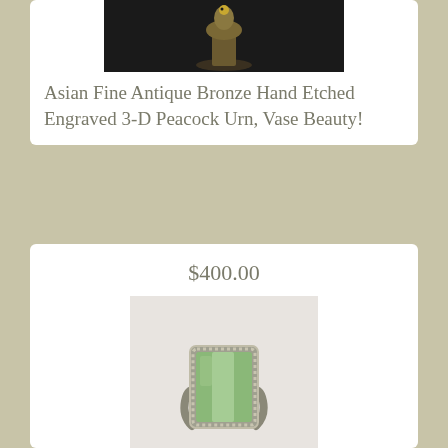[Figure (photo): Partial photo of Asian antique bronze peacock urn/vase on dark background]
Asian Fine Antique Bronze Hand Etched Engraved 3-D Peacock Urn, Vase Beauty!
$400.00
[Figure (photo): Silver ring with rectangular green agate/jade stone set in sterling silver beaded bezel, shown from above on white background]
Yemen Yemeni Sterling Silver agate Ring/aqeeq aqiq Men Ring